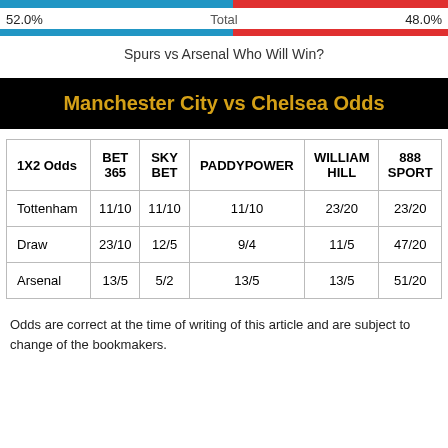[Figure (other): Horizontal split bar showing 52.0% blue (Spurs) and 48.0% red (Arsenal) with Total label in center]
Spurs vs Arsenal Who Will Win?
Manchester City vs Chelsea Odds
| 1X2 Odds | BET 365 | SKY BET | PADDYPOWER | WILLIAM HILL | 888 SPORT |
| --- | --- | --- | --- | --- | --- |
| Tottenham | 11/10 | 11/10 | 11/10 | 23/20 | 23/20 |
| Draw | 23/10 | 12/5 | 9/4 | 11/5 | 47/20 |
| Arsenal | 13/5 | 5/2 | 13/5 | 13/5 | 51/20 |
Odds are correct at the time of writing of this article and are subject to change of the bookmakers.